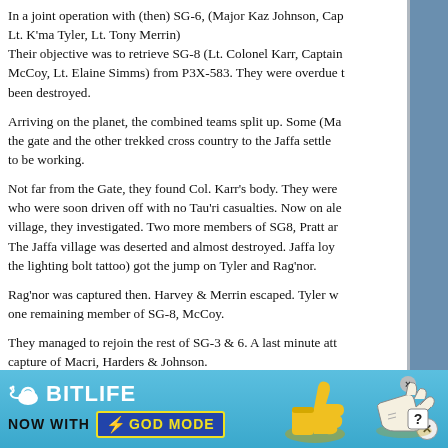In a joint operation with (then) SG-6, (Major Kaz Johnson, Cap Lt. K'ma Tyler, Lt. Tony Merrin) Their objective was to retrieve SG-8 (Lt. Colonel Karr, Captain McCoy, Lt. Elaine Simms) from P3X-583. They were overdue been destroyed.
Arriving on the planet, the combined teams split up. Some (Ma the gate and the other trekked cross country to the Jaffa settle to be working.
Not far from the Gate, they found Col. Karr's body. They were who were soon driven off with no Tau'ri casualties. Now on ale village, they investigated. Two more members of SG8, Pratt ar The Jaffa village was deserted and almost destroyed. Jaffa loy the lighting bolt tattoo) got the jump on Tyler and Rag'nor.
Rag'nor was captured then. Harvey & Merrin escaped. Tyler w one remaining member of SG-8, McCoy.
They managed to rejoin the rest of SG-3 & 6. A last minute att capture of Macri, Harders & Johnson.
[Figure (photo): BitLife advertisement banner: 'BitLife - Now With God Mode' with yellow thumbs up icon and pointing hand graphic on cyan/light blue background.]